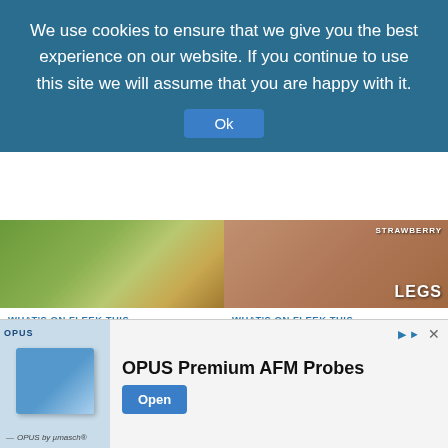We use cookies to ensure that we give you the best experience on our website. If you continue to use this site we will assume that you are happy with it.
Ok
[Figure (photo): Photo of a hand holding a bottle of rosemary hair oil spray among green foliage]
WHAT'S ON FLEEK THIS WEEK
Rosemary Hair Growth Spray
There is a growing trend about Rosemary water to promote hair growth and
[Figure (photo): Close-up photo of skin with strawberry legs texture; text overlay reads STRAWBERRY LEGS]
WHAT'S ON FLEEK THIS WEEK
How to get rid of Strawberry legs
Do you see black spots or dots and texture on your legs? It is probably
[Figure (advertisement): Ad for OPUS Premium AFM Probes by OPUS by µmasch with Open button]